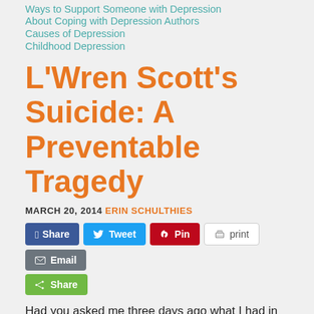Ways to Support Someone with Depression
About Coping with Depression Authors
Causes of Depression
Childhood Depression
L'Wren Scott's Suicide: A Preventable Tragedy
MARCH 20, 2014 ERIN SCHULTHIES
Had you asked me three days ago what I had in common with L'Wren Scott, I wouldn't have had a clue what to say beyond our matching hair and eye colors. Now that New York City officials ruled Scott's sudden death Mon as suicide, I have a different perspective. L'Wren Sco's suicide was preventable; her death is a major tragedy.